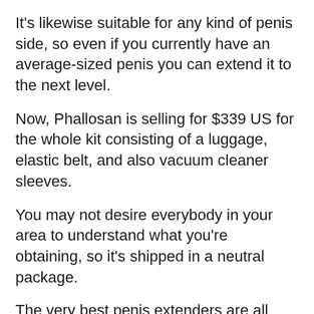It's likewise suitable for any kind of penis side, so even if you currently have an average-sized penis you can extend it to the next level.
Now, Phallosan is selling for $339 US for the whole kit consisting of a luggage, elastic belt, and also vacuum cleaner sleeves.
You may not desire everybody in your area to understand what you're obtaining, so it's shipped in a neutral package.
The very best penis extenders are all various. Why purchase a penile extender? Just how does penis extenders actually work?
Penis extenders utilize grip to get your penis